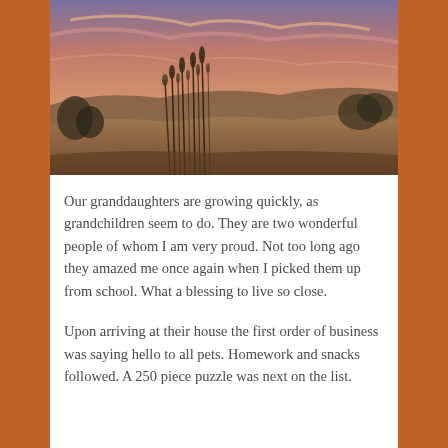[Figure (photo): Landscape photograph of prairie grasslands at sunset with golden grassy hills, tall grass silhouettes in the foreground, and a dramatic sky with pink and purple clouds.]
Our granddaughters are growing quickly, as grandchildren seem to do. They are two wonderful people of whom I am very proud. Not too long ago they amazed me once again when I picked them up from school. What a blessing to live so close.
Upon arriving at their house the first order of business was saying hello to all pets. Homework and snacks followed. A 250 piece puzzle was next on the list.